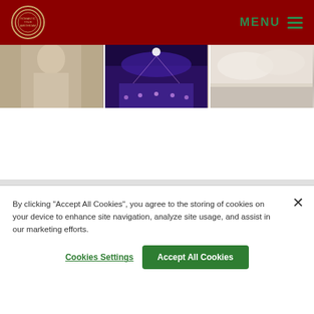MENU
[Figure (photo): Three side-by-side photos: person in light clothing, concert hall with purple/pink lighting and orchestra, cloudy sky scene]
By clicking "Accept All Cookies", you agree to the storing of cookies on your device to enhance site navigation, analyze site usage, and assist in our marketing efforts.
Cookies Settings  Accept All Cookies